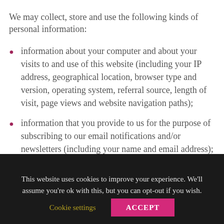We may collect, store and use the following kinds of personal information:
information about your computer and about your visits to and use of this website (including your IP address, geographical location, browser type and version, operating system, referral source, length of visit, page views and website navigation paths);
information that you provide to us for the purpose of subscribing to our email notifications and/or newsletters (including your name and email address);
This website uses cookies to improve your experience. We'll assume you're ok with this, but you can opt-out if you wish.
Cookie settings
ACCEPT